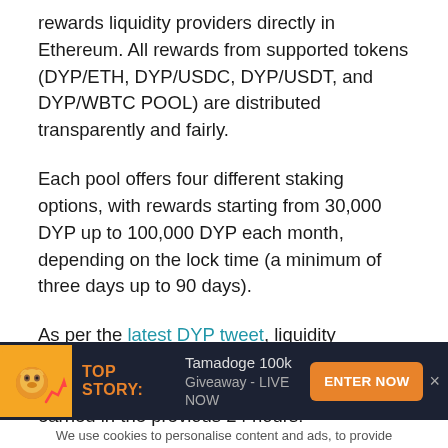rewards liquidity providers directly in Ethereum. All rewards from supported tokens (DYP/ETH, DYP/USDC, DYP/USDT, and DYP/WBTC POOL) are distributed transparently and fairly.
Each pool offers four different staking options, with rewards starting from 30,000 DYP up to 100,000 DYP each month, depending on the lock time (a minimum of three days up to 90 days).
As per the latest DYP tweet, liquidity providers earned 2,139.44 ETH worth about $2,930,424 in the last 44 days – 95,62 ETH earned in the previous 24 hours!
[Figure (infographic): Advertisement banner for Tamadoge 100k Giveaway LIVE NOW with orange ENTER NOW button and Tamadoge mascot icon on dark background]
We use cookies to personalise content and ads, to provide